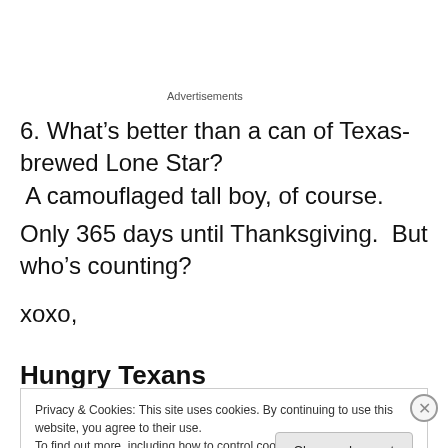Advertisements
6. What’s better than a can of Texas-brewed Lone Star?  A camouflaged tall boy, of course.
Only 365 days until Thanksgiving.  But who’s counting?
xoxo,
Hungry Texans
Privacy & Cookies: This site uses cookies. By continuing to use this website, you agree to their use.
To find out more, including how to control cookies, see here: Cookie Policy